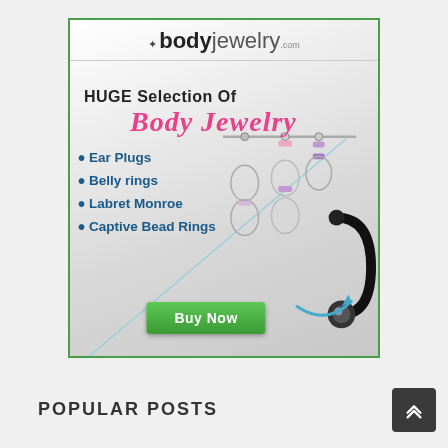[Figure (illustration): Advertisement banner for bodyjewelry.com showing logo, 'HUGE Selection Of Body Jewelry' text, bullet points for Ear Plugs, Belly rings, Labret Monroe, Captive Bead Rings, a green Buy Now button, and photos of body jewelry items on the right side.]
POPULAR POSTS